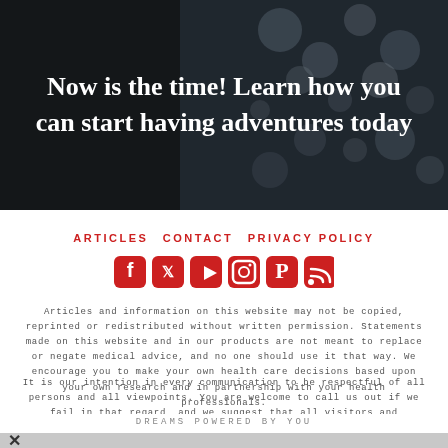Now is the time! Learn how you can start having adventures today
[Figure (illustration): Dark hero banner with bokeh light background]
ARTICLES   CONTACT   PRIVACY POLICY
[Figure (illustration): Social media icons: Facebook, Twitter, YouTube, Instagram, Pinterest, RSS]
Articles and information on this website may not be copied, reprinted or redistributed without written permission. Statements made on this website and in our products are not meant to replace or negate medical advice, and no one should use it that way. We encourage you to make your own health care decisions based upon your own research and in partnership with your health professionals.
It is our intention in every communication to be respectful of all persons and all viewpoints. You are welcome to call us out if we fail in that regard, and we suggest that all visitors and commenters to this site hold themselves to the same standard.
DREAMS POWERED BY YOU